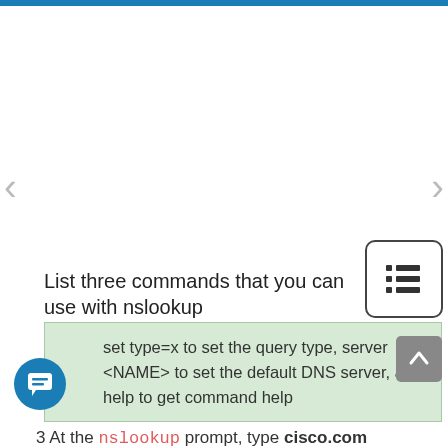List three commands that you can use with nslookup
set type=x to set the query type, server <NAME> to set the default DNS server, and help to get command help
3  At the  nslookup  prompt, type cisco.com